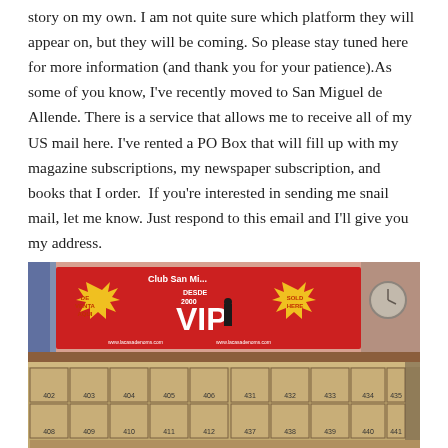story on my own. I am not quite sure which platform they will appear on, but they will be coming. So please stay tuned here for more information (and thank you for your patience).As some of you know, I've recently moved to San Miguel de Allende. There is a service that allows me to receive all of my US mail here. I've rented a PO Box that will fill up with my magazine subscriptions, my newspaper subscription, and books that I order.  If you're interested in sending me snail mail, let me know. Just respond to this email and I'll give you my address.
[Figure (photo): Photo of a PO Box office interior in San Miguel de Allende. Top portion shows a pink wall with a large red 'Club San Miguel VIP' banner offering DESDE 2000, with text 'DE VENTA AQUI' and 'SOLD HERE' in yellow starbursts, and a figure standing on the counter, a clock on the right wall. Bottom portion shows rows of numbered PO boxes (402-442 visible) with golden/brown wooden doors.]